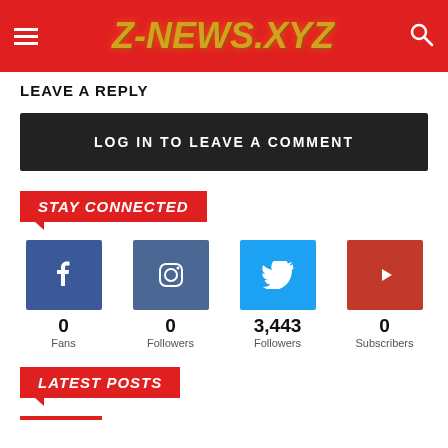Z-NEWS.XYZ
LEAVE A REPLY
LOG IN TO LEAVE A COMMENT
STAY CONNECTED
[Figure (infographic): Social media icons and follower counts: Facebook 0 Fans, Instagram 0 Followers, Twitter 3,443 Followers, YouTube 0 Subscribers]
LATEST POSTS